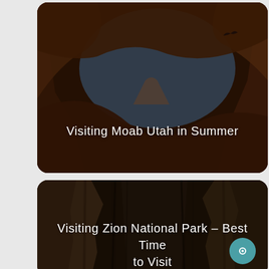[Figure (photo): A dark reddish-brown canyon rock arch with a blue sky visible through the opening, a bird silhouette flying, with text overlay 'Visiting Moab Utah in Summer']
Visiting Moab Utah in Summer
[Figure (photo): A dark moody photo of narrow slot canyon rock walls with text overlay 'Visiting Zion National Park – Best Time to Visit']
Visiting Zion National Park – Best Time to Visit